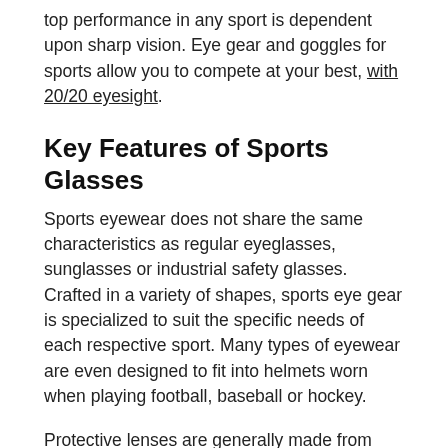top performance in any sport is dependent upon sharp vision. Eye gear and goggles for sports allow you to compete at your best, with 20/20 eyesight.
Key Features of Sports Glasses
Sports eyewear does not share the same characteristics as regular eyeglasses, sunglasses or industrial safety glasses. Crafted in a variety of shapes, sports eye gear is specialized to suit the specific needs of each respective sport. Many types of eyewear are even designed to fit into helmets worn when playing football, baseball or hockey.
Protective lenses are generally made from polycarbonate, a durable and impact-resistant material that boasts full UV protection for outdoor action. Polycarbonate lenses are also scratch-resistant, which is a valuable feature for many rough sports.
The frames are typically designed from highly-impact resistant plastic or polycarbonate, and they are coated with rubber padding at every point that connects with your face. Some frame styles